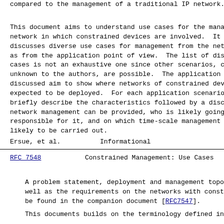compared to the management of a traditional IP network.
This document aims to understand use cases for the management of a network in which constrained devices are involved. It discusses diverse use cases for management from the network as well as from the application point of view. The list of discussed use cases is not an exhaustive one since other scenarios, currently unknown to the authors, are possible. The application scenarios discussed aim to show where networks of constrained devices are expected to be deployed. For each application scenario, we briefly describe the characteristics followed by a discussion of how network management can be provided, who is likely going to be responsible for it, and on which time-scale management actions are likely to be carried out.
Ersue, et al.                                         Informational
RFC 7548              Constrained Management: Use Cases
A problem statement, deployment and management topology as well as the requirements on the networks with constrained devices can be found in the companion document [RFC7547].
This documents builds on the terminology defined in RFC...